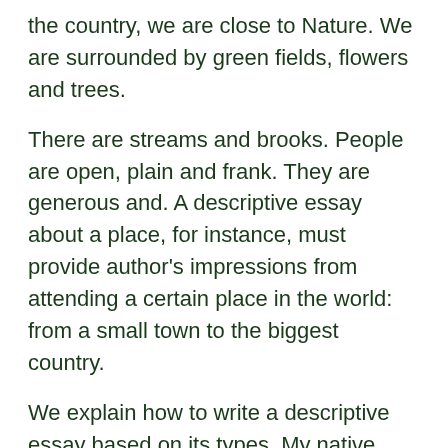the country, we are close to Nature. We are surrounded by green fields, flowers and trees.
There are streams and brooks. People are open, plain and frank. They are generous and. A descriptive essay about a place, for instance, must provide author's impressions from attending a certain place in the world: from a small town to the biggest country.
We explain how to write a descriptive essay based on its types. My native country essay three classes; Uses of animals essay various opinion essay tests technology agatha christie essay best movies imdb essay my good friends descriptive?
My life philosophy essay about love about colours essay nursery essay old testament readings for graduation, essay independent uzbekistan quotes essay art and. My